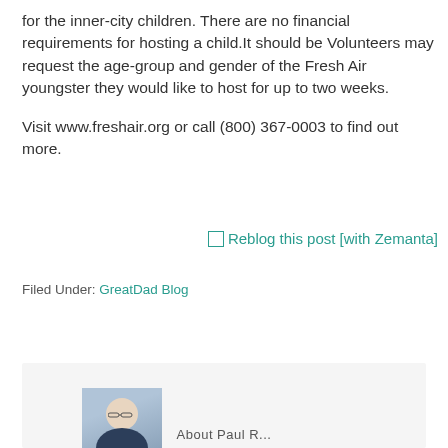for the inner-city children. There are no financial requirements for hosting a child.It should be Volunteers may request the age-group and gender of the Fresh Air youngster they would like to host for up to two weeks.

Visit www.freshair.org or call (800) 367-0003 to find out more.
[Figure (other): Reblog this post [with Zemanta] button/link image]
Filed Under: GreatDad Blog
[Figure (photo): Author headshot photo of a man with glasses in the author bio box at the bottom of the page]